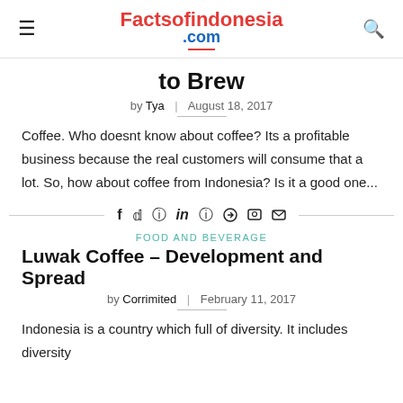Factsofindonesia.com
to Brew
by Tya | August 18, 2017
Coffee. Who doesnt know about coffee? Its a profitable business because the real customers will consume that a lot. So, how about coffee from Indonesia? Is it a good one...
[Figure (infographic): Social share icons row: Facebook, Twitter, Pinterest, LinkedIn, WhatsApp, Telegram, Line, Email]
FOOD AND BEVERAGE
Luwak Coffee – Development and Spread
by Corrimited | February 11, 2017
Indonesia is a country which full of diversity. It includes diversity